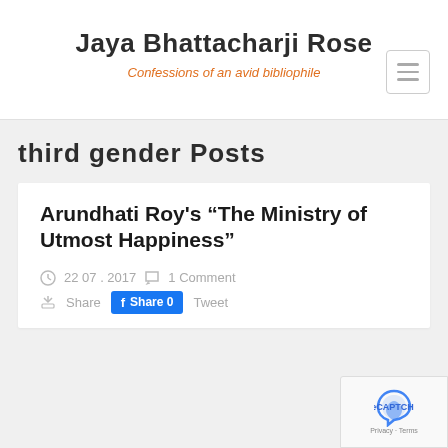Jaya Bhattacharji Rose
Confessions of an avid bibliophile
third gender Posts
Arundhati Roy's “The Ministry of Utmost Happiness”
22 07 . 2017   1 Comment
Share   Share 0   Tweet